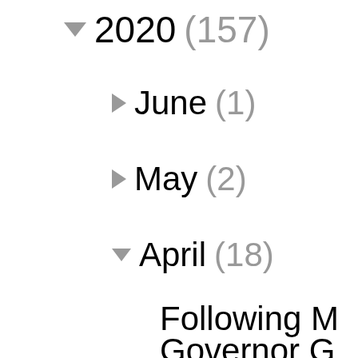▼ 2020 (157)
► June (1)
► May (2)
▼ April (18)
Following M Governor G